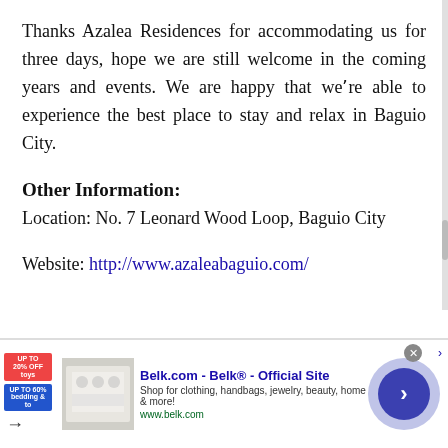Thanks Azalea Residences for accommodating us for three days, hope we are still welcome in the coming years and events. We are happy that we're able to experience the best place to stay and relax in Baguio City.
Other Information:
Location: No. 7 Leonard Wood Loop, Baguio City
Website: http://www.azaleabaguio.com/
[Figure (screenshot): Advertisement banner for Belk.com showing clothing/bedding products with a circular navigation button]